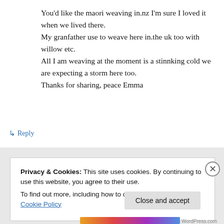You'd like the maori weaving in.nz I'm sure I loved it when we lived there.
My granfather use to weave here in.the uk too with willow etc.
All I am weaving at the moment is a stinnking cold we are expecting a storm here too.
Thanks for sharing, peace Emma
↳ Reply
Privacy & Cookies: This site uses cookies. By continuing to use this website, you agree to their use.
To find out more, including how to control cookies, see here: Cookie Policy
Close and accept